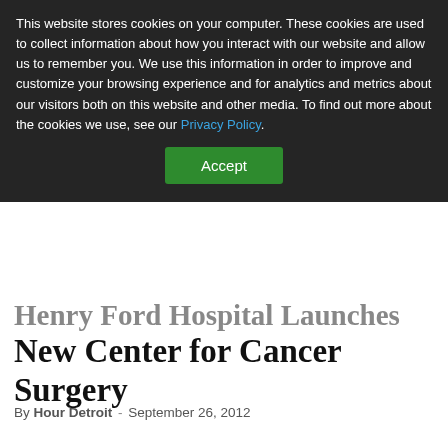This website stores cookies on your computer. These cookies are used to collect information about how you interact with our website and allow us to remember you. We use this information in order to improve and customize your browsing experience and for analytics and metrics about our visitors both on this website and other media. To find out more about the cookies we use, see our Privacy Policy.
Accept
Henry Ford Hospital Launches New Center for Cancer Surgery
By Hour Detroit - September 26, 2012
DETROIT—With more cancer patients seeking treatment – especially surgery –than ever before, Henry Ford Hospital has opened the new Center for Cancer Surgery.
Currently Henry Ford is the largest provider of adult cancer services in Michigan, with more than 14,000 patients treated